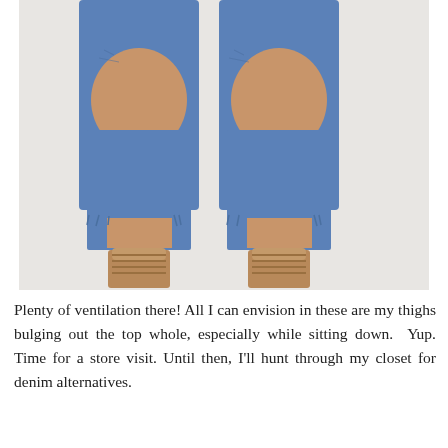[Figure (photo): Close-up photo of a person's legs wearing heavily distressed ripped blue jeans with large knee-cutout holes, paired with tan/nude strappy block-heel sandals, against a light gray background.]
Plenty of ventilation there! All I can envision in these are my thighs bulging out the top whole, especially while sitting down.  Yup. Time for a store visit. Until then, I'll hunt through my closet for denim alternatives.